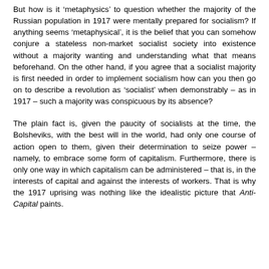But how is it ‘metaphysics’ to question whether the majority of the Russian population in 1917 were mentally prepared for socialism? If anything seems ‘metaphysical’, it is the belief that you can somehow conjure a stateless non-market socialist society into existence without a majority wanting and understanding what that means beforehand. On the other hand, if you agree that a socialist majority is first needed in order to implement socialism how can you then go on to describe a revolution as ‘socialist’ when demonstrably – as in 1917 – such a majority was conspicuous by its absence?
The plain fact is, given the paucity of socialists at the time, the Bolsheviks, with the best will in the world, had only one course of action open to them, given their determination to seize power – namely, to embrace some form of capitalism. Furthermore, there is only one way in which capitalism can be administered – that is, in the interests of capital and against the interests of workers. That is why the 1917 uprising was nothing like the idealistic picture that Anti-Capital paints.